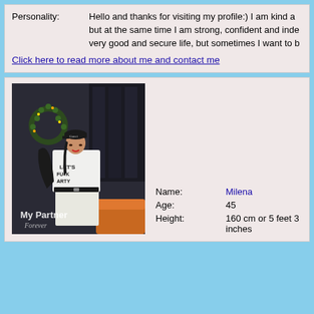Personality: Hello and thanks for visiting my profile:) I am kind a... but at the same time I am strong, confident and inde... very good and secure life, but sometimes I want to b...
Click here to read more about me and contact me
[Figure (photo): Woman in black cap and white t-shirt with text, holding black jacket, standing in a room with Christmas wreath. Watermark reads 'My Partner Forever'.]
Name: Milena
Age: 45
Height: 160 cm or 5 feet 3 inches